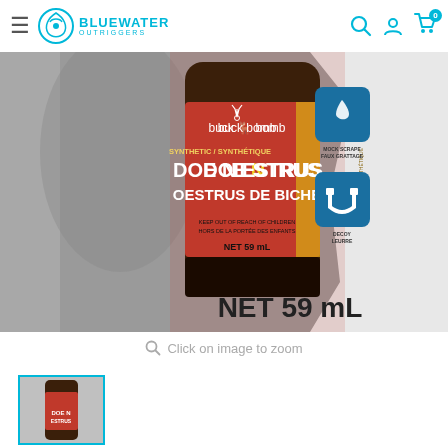BlueWater Outriggers — navigation bar with hamburger menu, logo, search, account, and cart icons (0 items)
[Figure (photo): Product photo of Buck Bomb Synthetic Doe N Estrus / Oestrus de Biche hunting scent bottle (NET 59 mL) in retail packaging. The packaging shows 'Mock Scrape / Faux Grattage' and 'Decoy / Leurre' feature icons on the right side. The label reads: 'buck bomb', 'SYNTHETIC / SYNTHÉTIQUE', 'DOE N ESTRUS', 'OESTRUS DE BICHE', 'KEEP OUT OF REACH OF CHILDREN / HORS DE LA PORTÉE DES ENFANTS', 'NET 59 mL'. The background package also shows 'NET 59 mL' in large text.]
Click on image to zoom
[Figure (photo): Thumbnail/small preview image of the same product, shown below the main image with a teal/cyan border indicating selected state.]